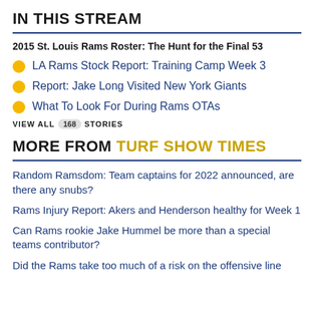IN THIS STREAM
2015 St. Louis Rams Roster: The Hunt for the Final 53
LA Rams Stock Report: Training Camp Week 3
Report: Jake Long Visited New York Giants
What To Look For During Rams OTAs
VIEW ALL 168 STORIES
MORE FROM TURF SHOW TIMES
Random Ramsdom: Team captains for 2022 announced, are there any snubs?
Rams Injury Report: Akers and Henderson healthy for Week 1
Can Rams rookie Jake Hummel be more than a special teams contributor?
Did the Rams take too much of a risk on the offensive line